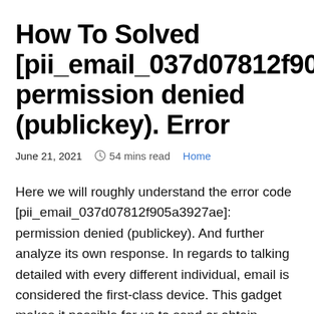How To Solved [pii_email_037d07812f905a3927ae] permission denied (publickey). Error
June 21, 2021   ⏱ 54 mins read   Home
Here we will roughly understand the error code [pii_email_037d07812f905a3927ae]: permission denied (publickey). And further analyze its own response. In regards to talking detailed with every different individual, email is considered the first-class device. This gadget makes it possible for us to send or obtain emails from our